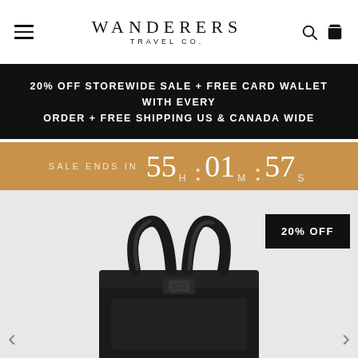WANDERERS TRAVEL CO.
20% OFF STOREWIDE SALE + FREE CARD WALLET WITH EVERY ORDER + FREE SHIPPING US & CANADA WIDE
SALE ENDS IN  55 H : 01 M : 57 S
[Figure (photo): Black leather handbag with top handles on grey background, with 20% OFF badge overlay]
20% OFF